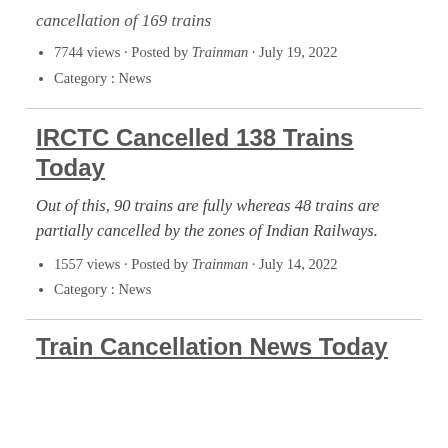cancellation of 169 trains
7744 views · Posted by Trainman · July 19, 2022
Category : News
IRCTC Cancelled 138 Trains Today
Out of this, 90 trains are fully whereas 48 trains are partially cancelled by the zones of Indian Railways.
1557 views · Posted by Trainman · July 14, 2022
Category : News
Train Cancellation News Today